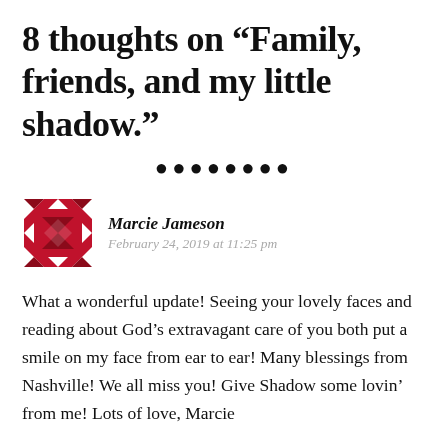8 thoughts on “Family, friends, and my little shadow.”
[Figure (other): Row of 8 decorative bullet dots as a section divider]
[Figure (illustration): Red and white quilt-pattern avatar icon for commenter Marcie Jameson]
Marcie Jameson
February 24, 2019 at 11:25 pm
What a wonderful update! Seeing your lovely faces and reading about God’s extravagant care of you both put a smile on my face from ear to ear! Many blessings from Nashville! We all miss you! Give Shadow some lovin’ from me! Lots of love, Marcie